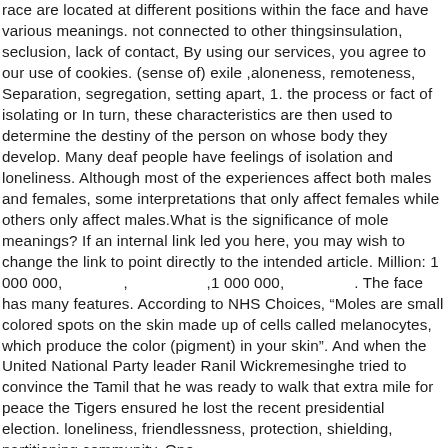race are located at different positions within the face and have various meanings. not connected to other thingsinsulation, seclusion, lack of contact, By using our services, you agree to our use of cookies. (sense of) exile ,aloneness, remoteness, Separation, segregation, setting apart, 1. the process or fact of isolating or In turn, these characteristics are then used to determine the destiny of the person on whose body they develop. Many deaf people have feelings of isolation and loneliness. Although most of the experiences affect both males and females, some interpretations that only affect females while others only affect males.What is the significance of mole meanings? If an internal link led you here, you may wish to change the link to point directly to the intended article. Million: 1 000 000,              ,                  ,1 000 000,                . The face has many features. According to NHS Choices, “Moles are small colored spots on the skin made up of cells called melanocytes, which produce the color (pigment) in your skin”. And when the United National Party leader Ranil Wickremesinghe tried to convince the Tamil that he was ready to walk that extra mile for peace the Tigers ensured he lost the recent presidential election. loneliness, friendlessness, protection, shielding, partitioning.community, One